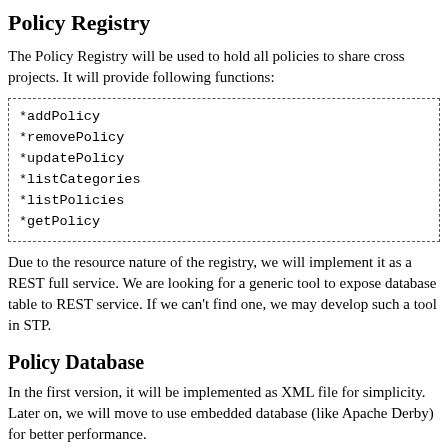Policy Registry
The Policy Registry will be used to hold all policies to share cross projects. It will provide following functions:
*addPolicy
*removePolicy
*updatePolicy
*listCategories
*listPolicies
*getPolicy
Due to the resource nature of the registry, we will implement it as a REST full service. We are looking for a generic tool to expose database table to REST service. If we can't find one, we may develop such a tool in STP.
Policy Database
In the first version, it will be implemented as XML file for simplicity. Later on, we will move to use embedded database (like Apache Derby) for better performance.